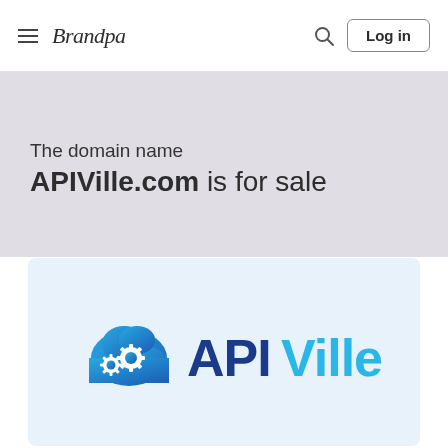Brandpa — Log in
The domain name APIVille.com is for sale
[Figure (logo): APIVille logo: blue cloud with white gear icons on the left, and the text 'API' in dark blue and 'Ville' in light blue on the right]